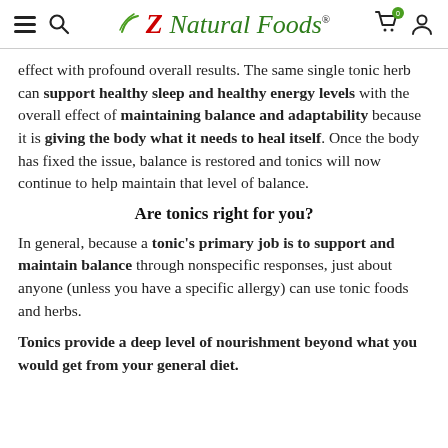Z Natural Foods® (navigation header)
effect with profound overall results. The same single tonic herb can support healthy sleep and healthy energy levels with the overall effect of maintaining balance and adaptability because it is giving the body what it needs to heal itself. Once the body has fixed the issue, balance is restored and tonics will now continue to help maintain that level of balance.
Are tonics right for you?
In general, because a tonic's primary job is to support and maintain balance through nonspecific responses, just about anyone (unless you have a specific allergy) can use tonic foods and herbs.
Tonics provide a deep level of nourishment beyond what you would get from your general diet.